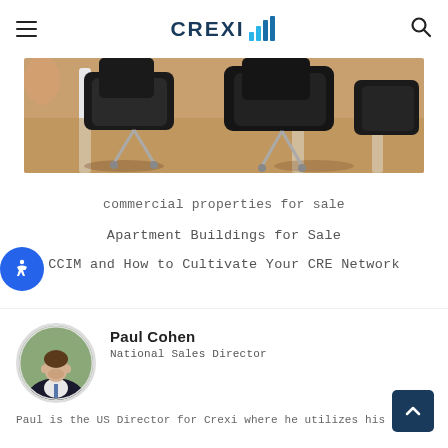CREXI (logo with bar chart icon) — hamburger menu and search icon
[Figure (photo): Close-up photo of office chairs with white table legs on a wooden floor, warm-toned background]
commercial properties for sale
Apartment Buildings for Sale
CCIM and How to Cultivate Your CRE Network
[Figure (illustration): Circular accessibility icon button (blue circle with person/wheelchair symbol)]
[Figure (photo): Circular profile photo of Paul Cohen, a man in a dark suit and tie, outdoors]
Paul Cohen
National Sales Director
Paul is the US Director for Crexi where he utilizes his